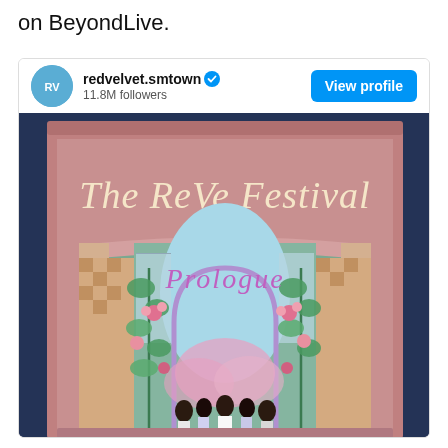on BeyondLive.
[Figure (screenshot): Instagram profile card for redvelvet.smtown with 11.8M followers showing The ReVe Festival Prologue album artwork — a storybook-style illustrated cover with girls in dresses walking toward an arch in a magical garden, pink roses, checkerboard floor, with 'The ReVe Festival' and 'Prologue' in script lettering.]